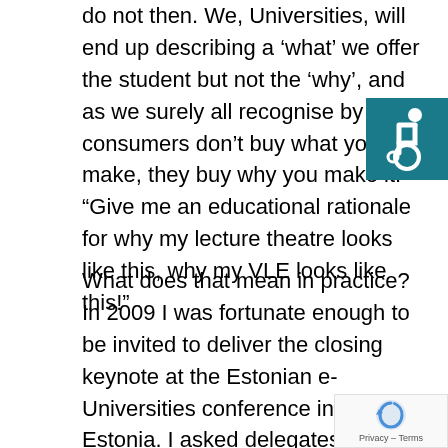do not then. We, Universities, will end up describing a 'what' we offer the student but not the 'why', and as we surely all recognise by now consumers don't buy what you make, they buy why you make it. "Give me an educational rationale for why my lecture theatre looks like this, why my VLE looks like this!"
[Figure (illustration): Accessibility icon: white wheelchair user symbol on teal/dark cyan background]
What does that mean in practice? In 2009 I was fortunate enough to be invited to deliver the closing keynote at the Estonian e-Universities conference in Tartu, Estonia. I asked delegates to do a little foresight thinking with me, a little futurology. Not something particularly 'big' in the UK or New Zealand (where I worked a the time my scenario I described Trin, a girl born in 200 Estonia, and asked the audience to future-think
[Figure (other): Google reCAPTCHA badge with circular arrow logo and Privacy - Terms text]